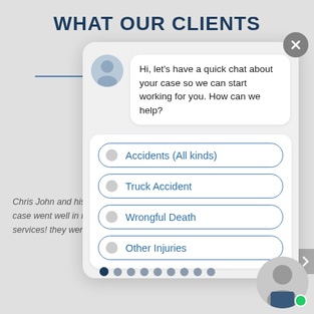WHAT OUR CLIENTS
[Figure (screenshot): Chat widget overlay showing a chatbot interface with avatar, message bubble saying 'Hi, let's have a quick chat about your case so we can start working for you. How can we help?' and four option buttons: Accidents (All kinds), Truck Accident, Wrongful Death, Other Injuries]
Chris John and his case went well in m services! they were
[Figure (photo): Bottom right corner photo of a man in a suit, professional attorney headshot with green online indicator dot]